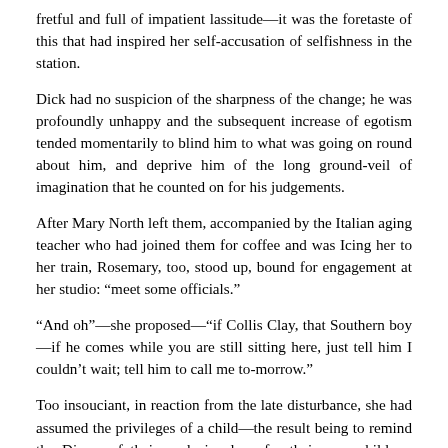fretful and full of impatient lassitude—it was the foretaste of this that had inspired her self-accusation of selfishness in the station.
Dick had no suspicion of the sharpness of the change; he was profoundly unhappy and the subsequent increase of egotism tended momentarily to blind him to what was going on round about him, and deprive him of the long ground-veil of imagination that he counted on for his judgements.
After Mary North left them, accompanied by the Italian aging teacher who had joined them for coffee and was Icing her to her train, Rosemary, too, stood up, bound for engagement at her studio: “meet some officials.”
“And oh”—she proposed—“if Collis Clay, that Southern boy—if he comes while you are still sitting here, just tell him I couldn’t wait; tell him to call me to-morrow.”
Too insouciant, in reaction from the late disturbance, she had assumed the privileges of a child—the result being to remind the Divers of their exclusive love for their own children. Rosemary was sharply rebuked in a short passage between the women: “You’d better leave the message with a waiter,” Nicole’s voice was stern and unmodulated,